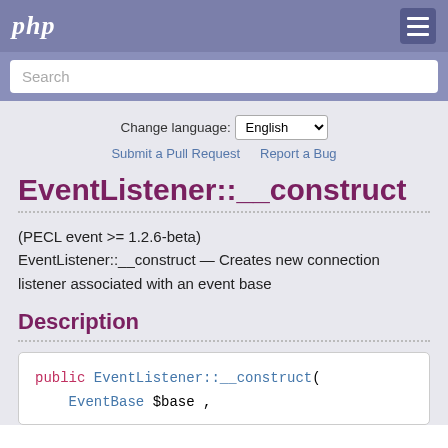php
Search
Change language: English
Submit a Pull Request   Report a Bug
EventListener::__construct
(PECL event >= 1.2.6-beta)
EventListener::__construct — Creates new connection listener associated with an event base
Description